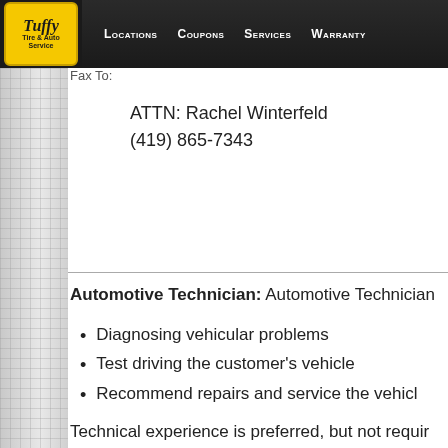[Figure (logo): Tuffy Tire & Auto Service logo - yellow rounded rectangle with black italic text]
Locations  Coupons  Services  Warranty
Fax To:
ATTN: Rachel Winterfeld
(419) 865-7343
Automotive Technician: Automotive Technician
Diagnosing vehicular problems
Test driving the customer's vehicle
Recommend repairs and service the vehicl
Technical experience is preferred, but not requir